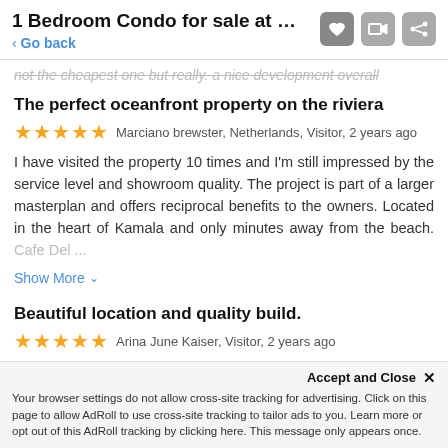1 Bedroom Condo for sale at MGallery R...
< Go back
not the cheapest one but really. a nice development overall
The perfect oceanfront property on the riviera
★★★★★ Marciano brewster, Netherlands, Visitor, 2 years ago
I have visited the property 10 times and I'm still impressed by the service level and showroom quality. The project is part of a larger masterplan and offers reciprocal benefits to the owners. Located in the heart of Kamala and only minutes away from the beach. Cafe Del ...
Show More ˅
Beautiful location and quality build.
★★★★★ Arina June Kaiser, Visitor, 2 years ago
I visited the sales office located in Kamala the location is amazing as its beachfront with a beach club HQ downstairs, definitely a
Accept and Close ✕
Your browser settings do not allow cross-site tracking for advertising. Click on this page to allow AdRoll to use cross-site tracking to tailor ads to you. Learn more or opt out of this AdRoll tracking by clicking here. This message only appears once.